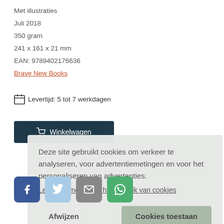Met illustraties
Juli 2018
350 gram
241 x 161 x 21 mm
EAN: 9789402176636
Brave New Books
Levertijd: 5 tot 7 werkdagen
Winkelwagen
Deze site gebruikt cookies om verkeer te analyseren, voor advertentiemetingen en voor het personaliseren van advertenties.
Lees hier meer over het gebruik van cookies
Afwijzen
Cookies toestaan